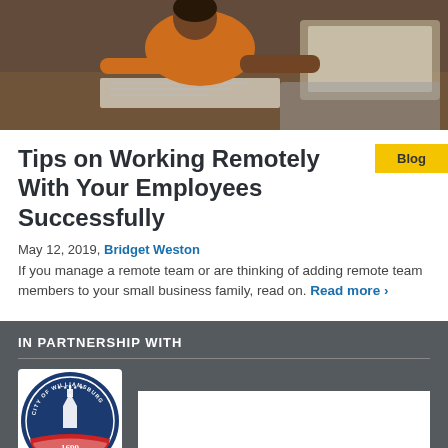[Figure (photo): Photo of a person working on a laptop at a desk, viewed from above/behind.]
Tips on Working Remotely With Your Employees Successfully
May 12, 2019, Bridget Weston
If you manage a remote team or are thinking of adding remote team members to your small business family, read on. Read more ›
IN PARTNERSHIP WITH
[Figure (logo): City of Williamsburg seal logo, circular, with '1699' and patriotic design.]
[Figure (logo): Second partner logo, white rectangle, partially visible.]